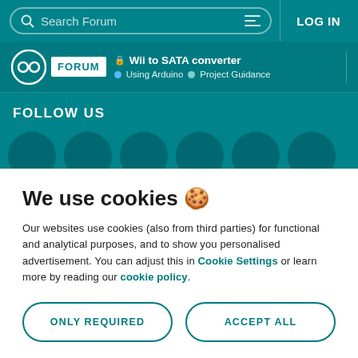Search Forum  LOG IN
🔒 Wii to SATA converter · Using Arduino · Project Guidance
FOLLOW US
We use cookies 🍪
Our websites use cookies (also from third parties) for functional and analytical purposes, and to show you personalised advertisement. You can adjust this in Cookie Settings or learn more by reading our cookie policy.
ONLY REQUIRED
ACCEPT ALL